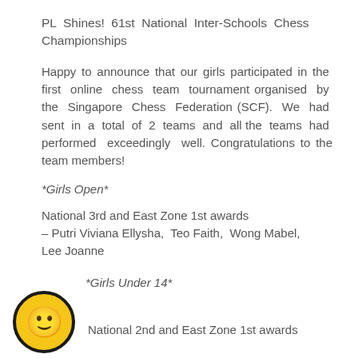PL Shines! 61st National Inter-Schools Chess Championships
Happy to announce that our girls participated in the first online chess team tournament organised by the Singapore Chess Federation (SCF). We had sent in a total of 2 teams and all the teams had performed exceedingly well. Congratulations to the team members!
*Girls Open*
National 3rd and East Zone 1st awards – Putri Viviana Ellysha, Teo Faith, Wong Mabel, Lee Joanne
*Girls Under 14*
National 2nd and East Zone 1st awards